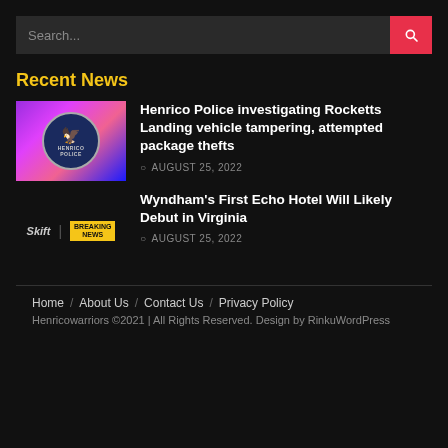Search...
Recent News
Henrico Police investigating Rocketts Landing vehicle tampering, attempted package thefts — AUGUST 25, 2022
Wyndham's First Echo Hotel Will Likely Debut in Virginia — AUGUST 25, 2022
Home / About Us / Contact Us / Privacy Policy
Henricowarriors ©2021 | All Rights Reserved. Design by RinkuWordPress